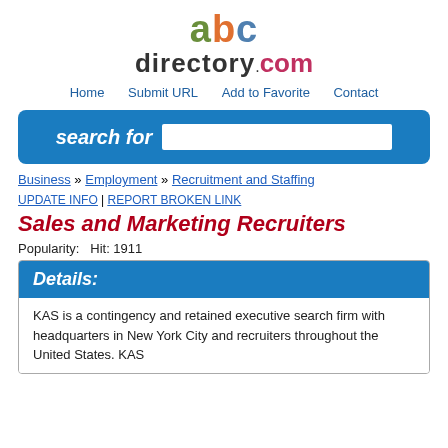[Figure (logo): abcdirectory.com logo with colorful letters]
Home  Submit URL  Add to Favorite  Contact
[Figure (other): Search bar with label 'search for' and input field]
Business » Employment » Recruitment and Staffing
UPDATE INFO | REPORT BROKEN LINK
Sales and Marketing Recruiters
Popularity:   Hit: 1911
Details:
KAS is a contingency and retained executive search firm with headquarters in New York City and recruiters throughout the United States. KAS